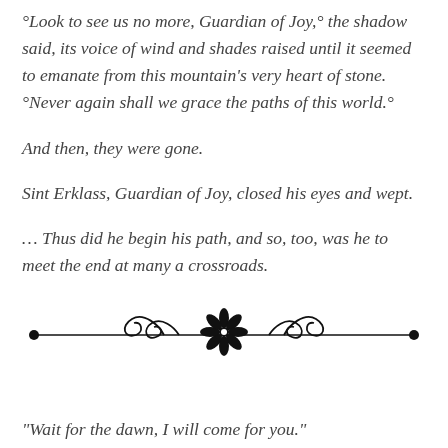°Look to see us no more, Guardian of Joy,° the shadow said, its voice of wind and shades raised until it seemed to emanate from this mountain's very heart of stone. °Never again shall we grace the paths of this world.°
And then, they were gone.
Sint Erklass, Guardian of Joy, closed his eyes and wept.
... Thus did he begin his path, and so, too, was he to meet the end at many a crossroads.
[Figure (illustration): Decorative horizontal divider: a horizontal line with bullet endpoints, ornamental scrollwork curls on each side of a central black flower/snowflake motif.]
“Wait for the dawn, I will come for you.”